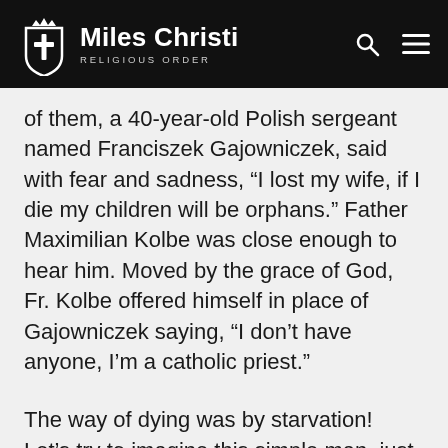Miles Christi RELIGIOUS ORDER
of them, a 40-year-old Polish sergeant named Franciszek Gajowniczek, said with fear and sadness, “I lost my wife, if I die my children will be orphans.” Father Maximilian Kolbe was close enough to hear him. Moved by the grace of God, Fr. Kolbe offered himself in place of Gajowniczek saying, “I don’t have anyone, I’m a catholic priest.”
The way of dying was by starvation! Let’s try to imagine this simple man, just like us, offering himself to die by starvation, without more